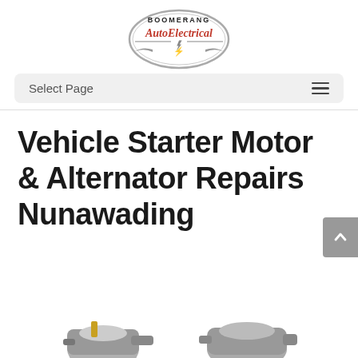[Figure (logo): Boomerang Auto Electrical logo — oval shape with 'BOOMERANG' text at top, 'AutoElectrical' in red cursive script, with lightning bolt and wing graphic at bottom, grey/silver border]
Select Page
Vehicle Starter Motor & Alternator Repairs Nunawading
[Figure (photo): Partial view of two automotive starter motors / alternators at bottom of page]